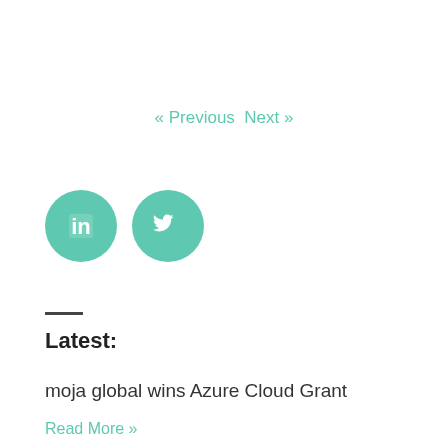« Previous   Next »
[Figure (illustration): Two circular green social media icons: LinkedIn (in) and Twitter (bird logo)]
—
Latest:
moja global wins Azure Cloud Grant
Read More »